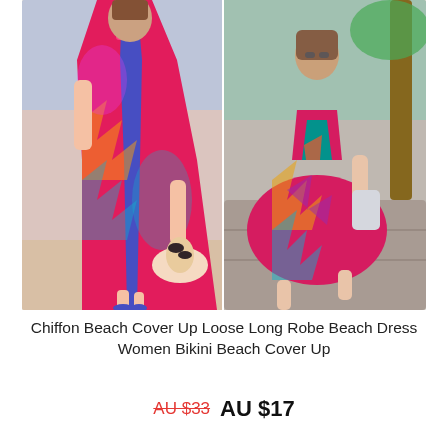[Figure (photo): Two women modeling a colorful chiffon beach cover-up dress with vivid zigzag and floral print patterns in pink, blue, teal, and orange. Left photo shows a woman standing on a beach holding a hat and sandals; right photo shows a woman seated on a stone surface near a palm tree.]
Chiffon Beach Cover Up Loose Long Robe Beach Dress Women Bikini Beach Cover Up
AU $33  AU $17